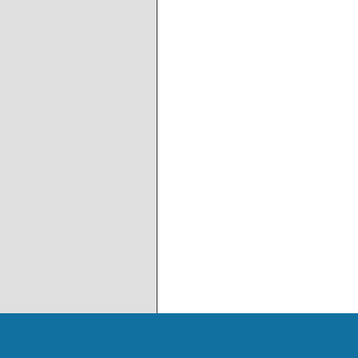[Figure (other): Left gray panel of a webpage/application UI]
[Figure (other): Right white panel of a webpage/application UI with a quantity input field showing '1' and a '+ Shopping Cart' button]
Blue footer bar